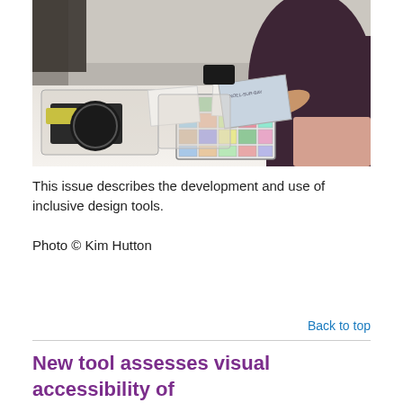[Figure (photo): A person sitting at a white table covered with various design tools and materials in plastic bags, including a grid-based card set with colored cells, printed sheets, and other items. The person is wearing a dark top and is photographed from the side.]
This issue describes the development and use of inclusive design tools.
Photo © Kim Hutton
Back to top
New tool assesses visual accessibility of